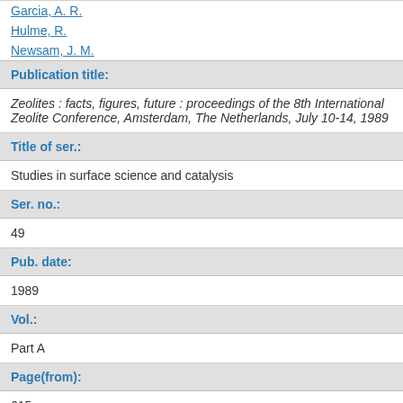Garcia, A. R.
Hulme, R.
Newsam, J. M.
| Publication title: |
| Zeolites : facts, figures, future : proceedings of the 8th International Zeolite Conference, Amsterdam, The Netherlands, July 10-14, 1989 |
| Title of ser.: |
| Studies in surface science and catalysis |
| Ser. no.: |
| 49 |
| Pub. date: |
| 1989 |
| Vol.: |
| Part A |
| Page(from): |
| 615 |
| Pub. info.: |